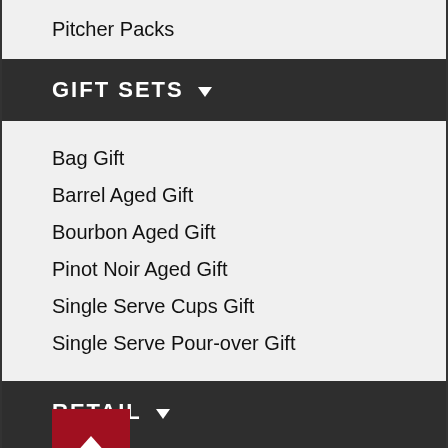Pitcher Packs
GIFT SETS
Bag Gift
Barrel Aged Gift
Bourbon Aged Gift
Pinot Noir Aged Gift
Single Serve Cups Gift
Single Serve Pour-over Gift
RETAIL
Mugs